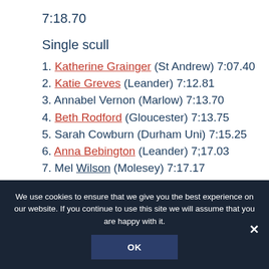7:18.70
Single scull
1. Katherine Grainger (St Andrew) 7:07.40
2. Katie Greves (Leander) 7:12.81
3. Annabel Vernon (Marlow) 7:13.70
4. Beth Rodford (Gloucester) 7:13.75
5. Sarah Cowburn (Durham Uni) 7:15.25
6. Anna Bebington (Leander) 7;17.03
7. Mel Wilson (Molesey) 7:17.17
8. Natasha Howard (Tideway Scullers) 7:17.68
We use cookies to ensure that we give you the best experience on our website. If you continue to use this site we will assume that you are happy with it.